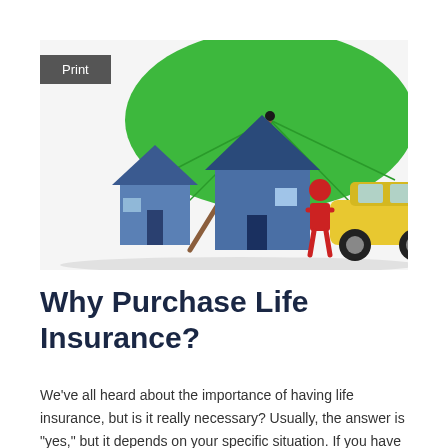[Figure (illustration): 3D illustration showing a green umbrella, blue house model, yellow car model, and a red human figure — symbolizing insurance coverage for life, home, and auto.]
Why Purchase Life Insurance?
We’ve all heard about the importance of having life insurance, but is it really necessary? Usually, the answer is “yes,” but it depends on your specific situation. If you have a family who relies on your